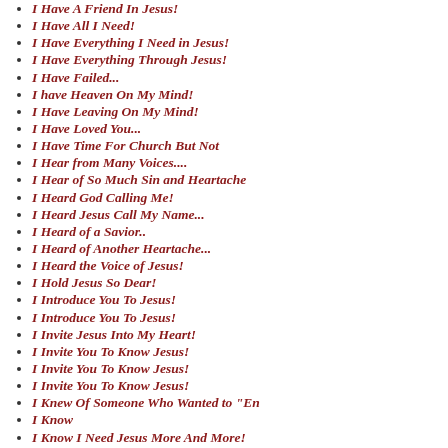I Have A Friend In Jesus!
I Have All I Need!
I Have Everything I Need in Jesus!
I Have Everything Through Jesus!
I Have Failed...
I have Heaven On My Mind!
I Have Leaving On My Mind!
I Have Loved You...
I Have Time For Church But Not
I Hear from Many Voices....
I Hear of So Much Sin and Heartache
I Heard God Calling Me!
I Heard Jesus Call My Name...
I Heard of a Savior..
I Heard of Another Heartache...
I Heard the Voice of Jesus!
I Hold Jesus So Dear!
I Introduce You To Jesus!
I Introduce You To Jesus!
I Invite Jesus Into My Heart!
I Invite You To Know Jesus!
I Invite You To Know Jesus!
I Invite You To Know Jesus!
I Knew Of Someone Who Wanted to "En
I Know
I Know I Need Jesus More And More!
I Know Jesus As My Friend!
I Know Jesus Can Help Me!
I Know Jesus Is Here!
I Know Jesus Loves Me!
I Know Jesus Understands!